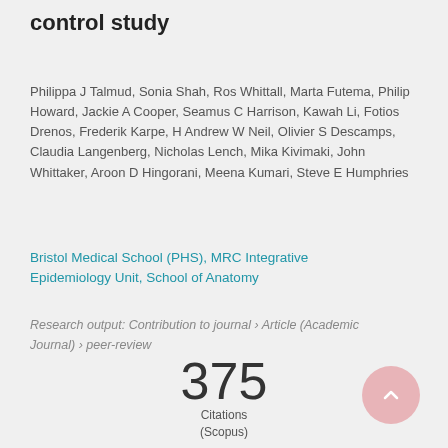control study
Philippa J Talmud, Sonia Shah, Ros Whittall, Marta Futema, Philip Howard, Jackie A Cooper, Seamus C Harrison, Kawah Li, Fotios Drenos, Frederik Karpe, H Andrew W Neil, Olivier S Descamps, Claudia Langenberg, Nicholas Lench, Mika Kivimaki, John Whittaker, Aroon D Hingorani, Meena Kumari, Steve E Humphries
Bristol Medical School (PHS), MRC Integrative Epidemiology Unit, School of Anatomy
Research output: Contribution to journal › Article (Academic Journal) › peer-review
375 Citations (Scopus)